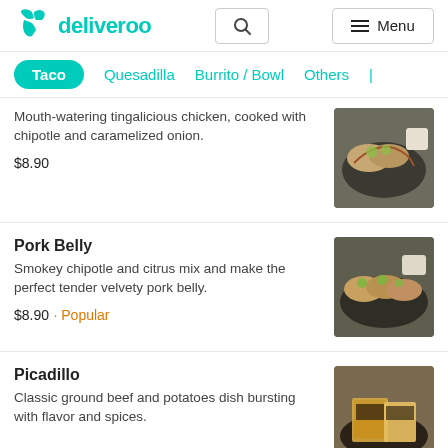deliveroo
Taco | Quesadilla | Burrito / Bowl | Others
Mouth-watering tingalicious chicken, cooked with chipotle and caramelized onion.
$8.90
Pork Belly
Smokey chipotle and citrus mix and make the perfect tender velvety pork belly.
$8.90 · Popular
Picadillo
Classic ground beef and potatoes dish bursting with flavor and spices.